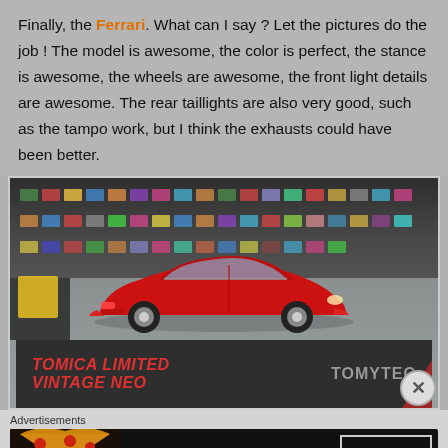Finally, the Ferrari. What can I say ? Let the pictures do the job ! The model is awesome, the color is perfect, the stance is awesome, the wheels are awesome, the front light details are awesome. The rear taillights are also very good, such as the tampo work, but I think the exhausts could have been better.
[Figure (photo): Photo of a red Ferrari diecast model car (Tomica Limited Vintage NEO by Tomytec) displayed on a shelf/table in a hobby store. The box label is visible at the bottom reading 'TOMICA LIMITED VINTAGE NEO' in red text and 'TOMYTEC' in grey text on a dark background.]
Advertisements
[Figure (screenshot): Seamless food delivery advertisement banner showing pizza image on the left, Seamless logo in center, and ORDER NOW button on the right.]